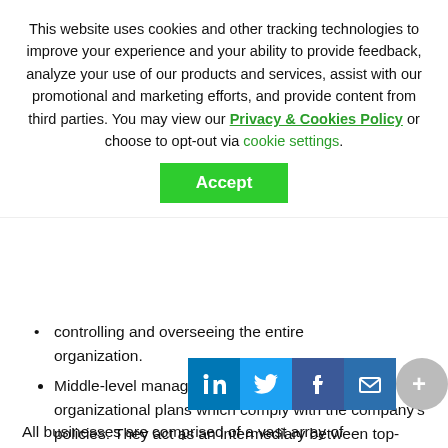This website uses cookies and other tracking technologies to improve your experience and your ability to provide feedback, analyze your use of our products and services, assist with our promotional and marketing efforts, and provide content from third parties. You may view our Privacy & Cookies Policy or choose to opt-out via cookie settings.
controlling and overseeing the entire organization.
Middle-level managers are responsible for executing organizational plans which comply with the company's policies. They act as an intermediary between top-level and low-level management.
Low-level managers focus on the execution of tasks and deliverables, serving as role models for the employees they supervise.
All businesses are comprised of a vast array of